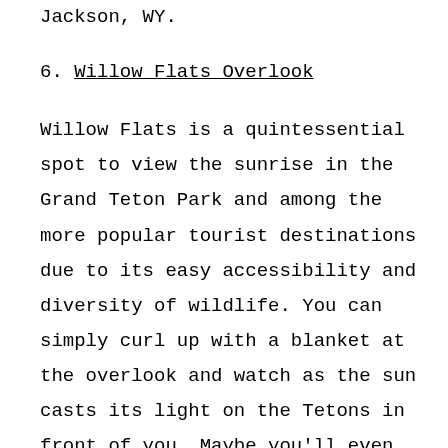Jackson, WY.
6. Willow Flats Overlook
Willow Flats is a quintessential spot to view the sunrise in the Grand Teton Park and among the more popular tourist destinations due to its easy accessibility and diversity of wildlife. You can simply curl up with a blanket at the overlook and watch as the sun casts its light on the Tetons in front of you. Maybe you'll even see some elks wandering by to graze